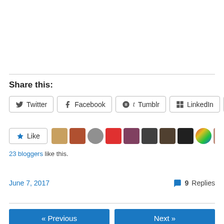Share this:
Twitter | Facebook | Tumblr | LinkedIn | More
[Figure (other): Like button with star icon and a row of 11 blogger avatar thumbnails]
23 bloggers like this.
June 7, 2017  |  9 Replies
« Previous  |  Next »